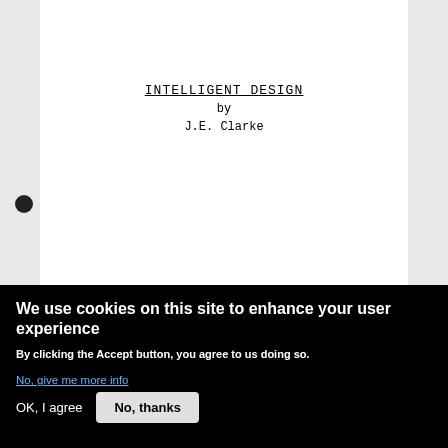INTELLIGENT DESIGN
by
J.E. Clarke
We use cookies on this site to enhance your user experience
By clicking the Accept button, you agree to us doing so.
No, give me more info
OK, I agree
No, thanks